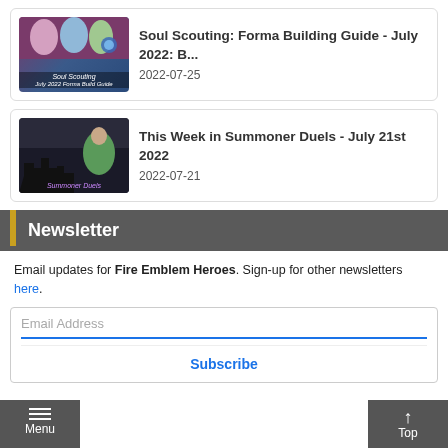[Figure (screenshot): Thumbnail image for Soul Scouting article with characters and blue orb]
Soul Scouting: Forma Building Guide - July 2022: B...
2022-07-25
[Figure (screenshot): Thumbnail image for Summoner Duels article with silhouette skyline]
This Week in Summoner Duels - July 21st 2022
2022-07-21
Newsletter
Email updates for Fire Emblem Heroes. Sign-up for other newsletters here.
Email Address
Subscribe